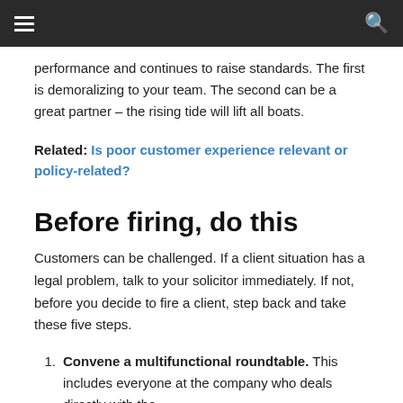performance and continues to raise standards. The first is demoralizing to your team. The second can be a great partner – the rising tide will lift all boats.
Related: Is poor customer experience relevant or policy-related?
Before firing, do this
Customers can be challenged. If a client situation has a legal problem, talk to your solicitor immediately. If not, before you decide to fire a client, step back and take these five steps.
Convene a multifunctional roundtable. This includes everyone at the company who deals directly with the